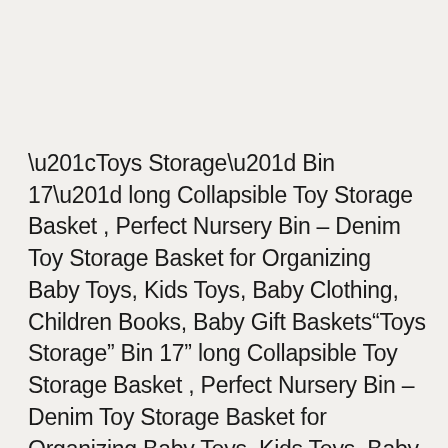“Toys Storage” Bin 17” long Collapsible Toy Storage Basket , Perfect Nursery Bin – Denim Toy Storage Basket for Organizing Baby Toys, Kids Toys, Baby Clothing, Children Books, Baby Gift Baskets“Toys Storage” Bin 17” long Collapsible Toy Storage Basket , Perfect Nursery Bin – Denim Toy Storage Basket for Organizing Baby Toys, Kids Toys, Baby Clothing, Children Books, Baby Gift Baskets - High quality, made from strong chambray material with handles, waterproof lining for easy cleaning and wire framed made to last. Size 17” long x 13” wide x 10” high- perfect